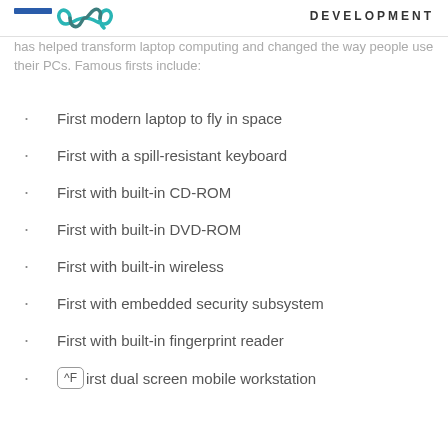DEVELOPMENT
has helped transform laptop computing and changed the way people use their PCs. Famous firsts include:
First modern laptop to fly in space
First with a spill-resistant keyboard
First with built-in CD-ROM
First with built-in DVD-ROM
First with built-in wireless
First with embedded security subsystem
First with built-in fingerprint reader
First dual screen mobile workstation